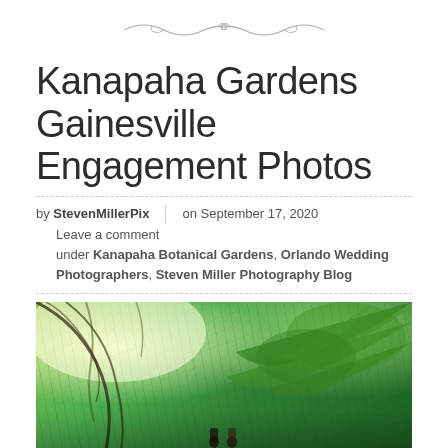[Figure (illustration): Decorative ornamental divider line with curling flourishes in the center]
Kanapaha Gardens Gainesville Engagement Photos
by StevenMillerPix | on September 17, 2020
Leave a comment
under Kanapaha Botanical Gardens, Orlando Wedding Photographers, Steven Miller Photography Blog
[Figure (photo): Outdoor garden photo taken from below looking up through lush tropical palm fronds and hanging tree branches with bright sunlight; an engaged couple visible in the lower center portion of the image]